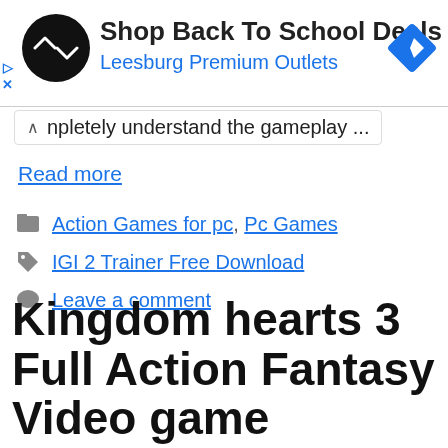[Figure (screenshot): Advertisement banner: Shop Back To School Deals - Leesburg Premium Outlets, with circular logo and blue diamond icon]
npletely understand the gameplay ...
Read more
Action Games for pc, Pc Games
IGI 2 Trainer Free Download
Leave a comment
Kingdom hearts 3 Full Action Fantasy Video game